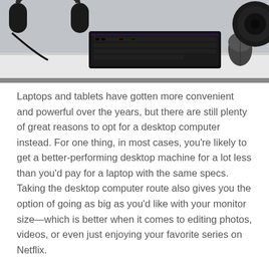[Figure (photo): A desktop setup photographed from above showing a black RGB mechanical keyboard, a computer mouse, headphones on the left, and a speaker/device on the right, all on a white desk surface. The bottom portion of the image shows the desk surface clearly.]
Laptops and tablets have gotten more convenient and powerful over the years, but there are still plenty of great reasons to opt for a desktop computer instead. For one thing, in most cases, you're likely to get a better-performing desktop machine for a lot less than you'd pay for a laptop with the same specs. Taking the desktop computer route also gives you the option of going as big as you'd like with your monitor size—which is better when it comes to editing photos, videos, or even just enjoying your favorite series on Netflix.
Considering the many choices available today, purchasing the best desktop computer could start to feel overwhelming. Fortunately, we're here to make your